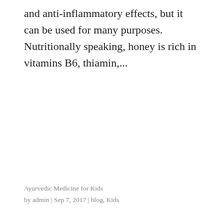and anti-inflammatory effects, but it can be used for many purposes. Nutritionally speaking, honey is rich in vitamins B6, thiamin,...
Ayurvedic Medicine for Kids
by admin | Sep 7, 2017 | blog, Kids